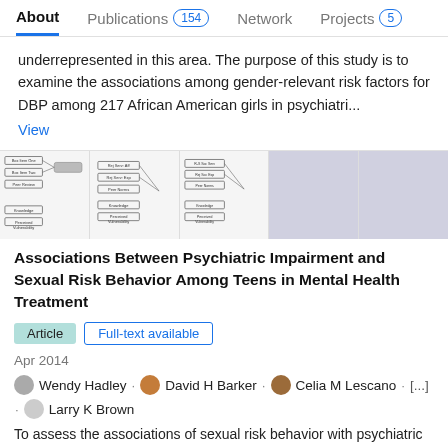About  Publications 154  Network  Projects 5
underrepresented in this area. The purpose of this study is to examine the associations among gender-relevant risk factors for DBP among 217 African American girls in psychiatri...
View
[Figure (schematic): Strip of 5 figure thumbnails showing flowchart/path diagrams and blank gray panels from a research publication]
Associations Between Psychiatric Impairment and Sexual Risk Behavior Among Teens in Mental Health Treatment
Article  Full-text available
Apr 2014
Wendy Hadley · David H Barker · Celia M Lescano · [...] · Larry K Brown
To assess the associations of sexual risk behavior with psychiatric impairment and individual, peer, and partner